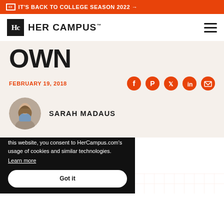IT'S BACK TO COLLEGE SEASON 2022 →
[Figure (logo): Her Campus logo with 'Hc' monogram box and 'HER CAMPUS' text, hamburger menu icon on right]
OWN
FEBRUARY 19, 2018
[Figure (illustration): Social share icons: Facebook, Pinterest, Twitter, LinkedIn, Email — all in orange circles or orange color]
[Figure (photo): Circular author avatar photo of Sarah Madaus]
SARAH MADAUS
…especially for college students. …s and a nice top for early …on't usually put forth that …e it to class on time. T-shirts …sacrifice comfort to look
This website uses cookies. By continuing to use this website, you consent to HerCampus.com's usage of cookies and similar technologies. Learn more Got it